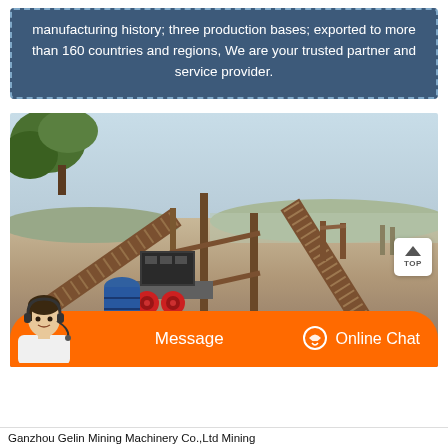manufacturing history; three production bases; exported to more than 160 countries and regions, We are your trusted partner and service provider.
[Figure (photo): Outdoor mining equipment site with conveyor belt structures, mechanical machinery including a crusher or pump unit with blue barrel and red wheels, set on bare ground with trees and hazy sky in background. A customer service chat avatar (woman with headset) overlays the bottom-left corner.]
Ganzhou Gelin Mining Machinery Co.,Ltd Mining